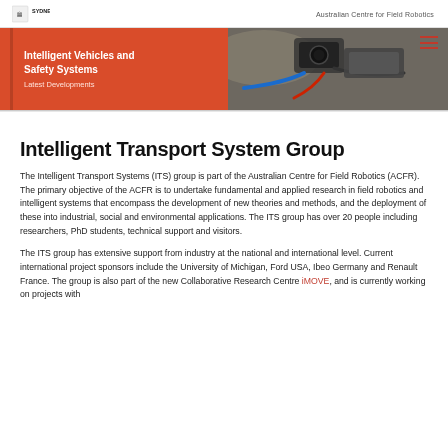SYDNEY | Australian Centre for Field Robotics
[Figure (photo): Banner with orange panel reading 'Intelligent Vehicles and Safety Systems — Latest Developments' beside a photo of vehicle camera/sensor equipment]
Intelligent Transport System Group
The Intelligent Transport Systems (ITS) group is part of the Australian Centre for Field Robotics (ACFR). The primary objective of the ACFR is to undertake fundamental and applied research in field robotics and intelligent systems that encompass the development of new theories and methods, and the deployment of these into industrial, social and environmental applications. The ITS group has over 20 people including researchers, PhD students, technical support and visitors.
The ITS group has extensive support from industry at the national and international level. Current international project sponsors include the University of Michigan, Ford USA, Ibeo Germany and Renault France. The group is also part of the new Collaborative Research Centre iMOVE, and is currently working on projects with